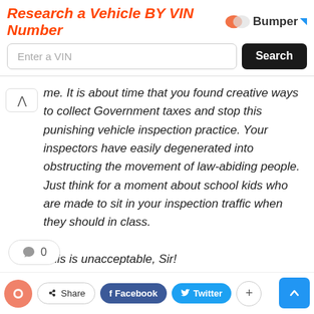[Figure (screenshot): Bumper ad banner with 'Research a Vehicle BY VIN Number' heading, VIN input field, and Search button]
me. It is about time that you found creative ways to collect Government taxes and stop this punishing vehicle inspection practice. Your inspectors have easily degenerated into obstructing the movement of law-abiding people. Just think for a moment about school kids who are made to sit in your inspection traffic when they should in class.

This is unacceptable, Sir!
[Figure (screenshot): Comment count bubble showing 0 comments, share buttons for Facebook and Twitter, and scroll-to-top button]